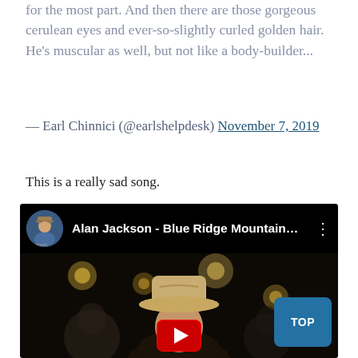for the most part. And then there are those gorgeous cerulean eyes and ever-so-slightly curled golden hair. He's muscular as well, but not like a body-builder...
— Earl Chinnici (@earlshelpdesk) November 7, 2019
This is a really sad song.
[Figure (screenshot): YouTube video embed showing Alan Jackson - Blue Ridge Mountain... with a man in a cowboy hat visible in the thumbnail and a red play button at the bottom center. A blue TOP button appears in the lower right corner.]